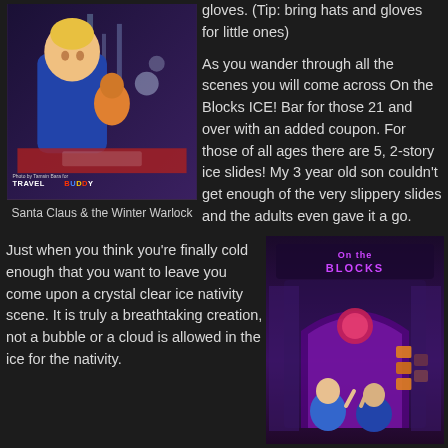[Figure (photo): Ice sculpture of Santa Claus and the Winter Warlock with 'Travel Buddy' photo credit watermark at bottom left]
Santa Claus & the Winter Warlock
gloves. (Tip: bring hats and gloves for little ones) As you wander through all the scenes you will come across On the Blocks ICE! Bar for those 21 and over with an added coupon. For those of all ages there are 5, 2-story ice slides! My 3 year old son couldn't get enough of the very slippery slides and the adults even gave it a go.
Just when you think you're finally cold enough that you want to leave you come upon a crystal clear ice nativity scene. It is truly a breathtaking creation, not a bubble or a cloud is allowed in the ice for the nativity.
[Figure (photo): Two people standing in front of a lit ice archway with 'On the Blocks ICE!' signage in purple/pink lighting]